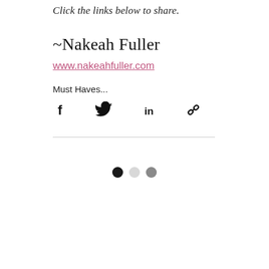Click the links below to share.
~Nakeah Fuller
www.nakeahfuller.com
Must Haves...
[Figure (infographic): Row of four social share icons: Facebook (f), Twitter (bird), LinkedIn (in), and a chain/link icon, all in black.]
[Figure (infographic): Three pagination dots: one black, one light gray, one medium gray.]